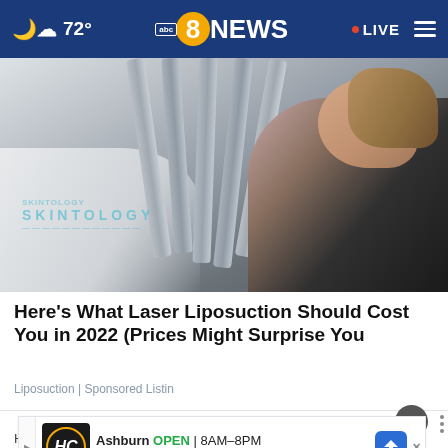☁ 72° | abc 8NEWS | LIVE
[Figure (photo): Woman lying down smiling during a laser liposuction treatment with multiple tubes and a machine over her. Skintology logo watermark visible.]
Here's What Laser Liposuction Should Cost You in 2022 (Prices Might Surprise You
Liposuction | Sponsored Listin
[Figure (screenshot): Ad banner: Ashburn OPEN 8AM-8PM 44110 Ashburn Shopping Plaza ...]